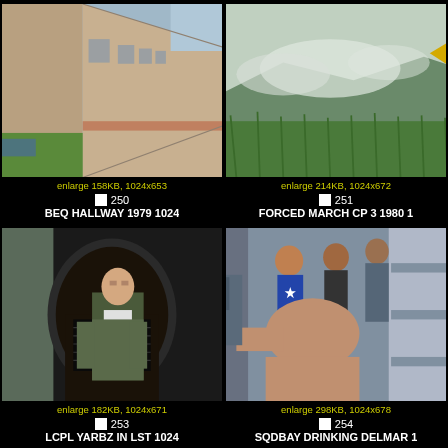[Figure (photo): Hallway/corridor of a military BEQ building, outdoor walkway with brick walls and windows, parking lot and lawn visible to the left]
enlarge 158KB, 1024x653
250
BEQ HALLWAY 1979 1024
[Figure (photo): Outdoor field scene with green grass, smoke or mist in the background, hills visible, military forced march setting]
enlarge 214KB, 1024x672
251
FORCED MARCH CP 3 1980 1
[Figure (photo): A soldier in camouflage uniform standing in the doorway/hatch of a military LST vessel, dark interior behind]
enlarge 182KB, 1024x671
253
LCPL YARBZ IN LST 1024
[Figure (photo): Group of soldiers relaxing/drinking in a squad bay, bunk beds visible in background, informal setting]
enlarge 298KB, 1024x678
254
SQDBAY DRINKING DELMAR 1